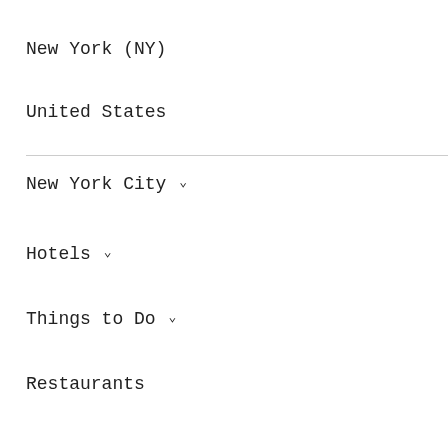New York (NY)
United States
New York City
Hotels
Things to Do
Restaurants
Flights
Holiday Rentals
Shopping
Package Holidays